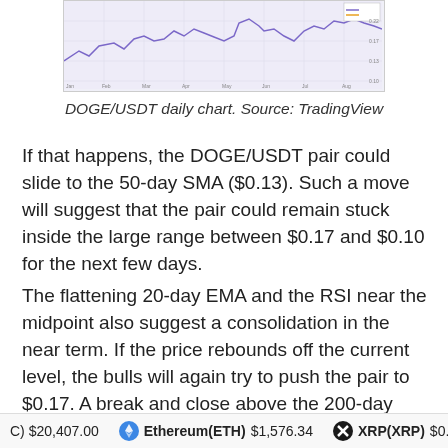[Figure (continuous-plot): DOGE/USDT daily candlestick/line chart from TradingView showing price fluctuations with a purple/blue line on a light lavender background]
DOGE/USDT daily chart. Source: TradingView
If that happens, the DOGE/USDT pair could slide to the 50-day SMA ($0.13). Such a move will suggest that the pair could remain stuck inside the large range between $0.17 and $0.10 for the next few days.
The flattening 20-day EMA and the RSI near the midpoint also suggest a consolidation in the near term. If the price rebounds off the current level, the bulls will again try to push the pair to $0.17. A break and close above the 200-day SMA ($0.18) could indicate the start of a potential new uptrend.
C) $20,407.00   Ethereum(ETH) $1,576.34   XRP(XRP) $0.3332